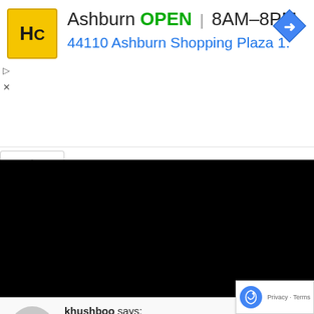[Figure (screenshot): Advertisement banner for Hardware City (HC) store in Ashburn showing OPEN status, hours 8AM-8PM, address 44110 Ashburn Shopping Plaza 1., with yellow HC logo and blue navigation diamond icon]
[Figure (photo): Black/dark media block, appears to be a collapsed or failed video player]
khushboo says: January 7, 2011 at 5:57 am
Hey simply grrrrrrrrreat recipe!A great alternative to